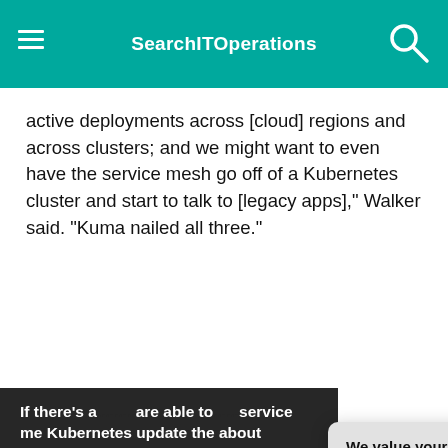SearchITOperations
active deployments across [cloud] regions and across clusters; and we might want to even have the service mesh go off of a Kubernetes cluster and start to talk to [legacy apps]," Walker said. "Kuma nailed all three."
If there's ar... are able to ... service me... Kubernetes... update the... about how... and routed...
Jason Walk... Director of techn...
[Figure (screenshot): Privacy consent dialog box with title 'We value your privacy.' showing TechTarget cookie/privacy notice with OK and Settings buttons and a close X button]